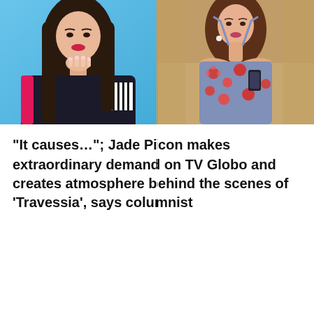[Figure (photo): Two side-by-side photos: left shows a young woman with long dark hair resting her chin on her hand, wearing a black jacket with pink accents, against a blue background; right shows a woman in a floral halter dress holding a phone, against an indoor background.]
“It causes…”; Jade Picon makes extraordinary demand on TV Globo and creates atmosphere behind the scenes of ‘Travessia’, says columnist